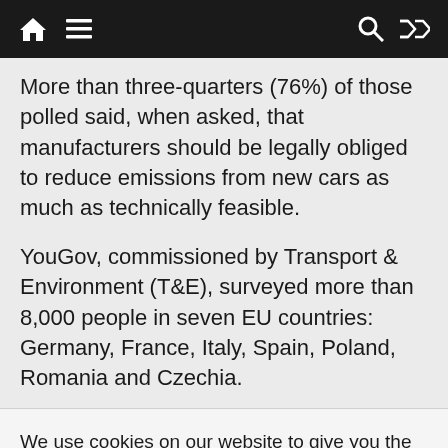Navigation bar with home, menu, search, and shuffle icons
More than three-quarters (76%) of those polled said, when asked, that manufacturers should be legally obliged to reduce emissions from new cars as much as technically feasible.
YouGov, commissioned by Transport & Environment (T&E), surveyed more than 8,000 people in seven EU countries: Germany, France, Italy, Spain, Poland, Romania and Czechia.
We use cookies on our website to give you the most relevant experience by remembering your preferences and repeat visits. By clicking “Accept”, you consent to the use of ALL the cookies.
Cookie settings | ACCEPT | REJECT